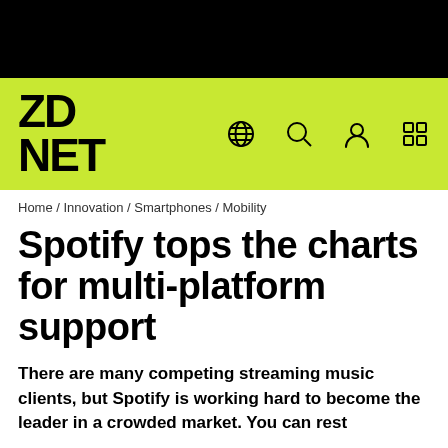[Figure (logo): Black top navigation bar]
[Figure (logo): ZDNET logo on lime-green navigation bar with globe, search, user, and grid icons]
Home / Innovation / Smartphones / Mobility
Spotify tops the charts for multi-platform support
There are many competing streaming music clients, but Spotify is working hard to become the leader in a crowded market. You can rest